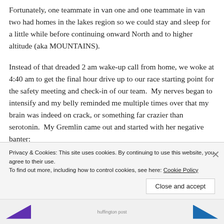Fortunately, one teammate in van one and one teammate in van two had homes in the lakes region so we could stay and sleep for a little while before continuing onward North and to higher altitude (aka MOUNTAINS).
Instead of that dreaded 2 am wake-up call from home, we woke at 4:40 am to get the final hour drive up to our race starting point for the safety meeting and check-in of our team.  My nerves began to intensify and my belly reminded me multiple times over that my brain was indeed on crack, or something far crazier than serotonin.  My Gremlin came out and started with her negative banter:
“You are too old for this!”
“…
Privacy & Cookies: This site uses cookies. By continuing to use this website, you agree to their use.
To find out more, including how to control cookies, see here: Cookie Policy
Close and accept